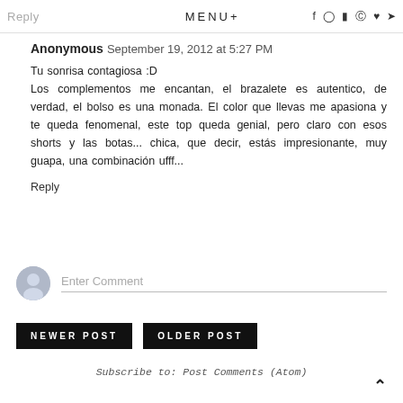Reply  MENU+  f  (instagram)  (youtube)  (pinterest)  (heart)  (twitter)
Anonymous  September 19, 2012 at 5:27 PM
Tu sonrisa contagiosa :D
Los complementos me encantan, el brazalete es autentico, de verdad, el bolso es una monada. El color que llevas me apasiona y te queda fenomenal, este top queda genial, pero claro con esos shorts y las botas... chica, que decir, estás impresionante, muy guapa, una combinación ufff...
Reply
Enter Comment
NEWER POST
OLDER POST
Subscribe to: Post Comments (Atom)